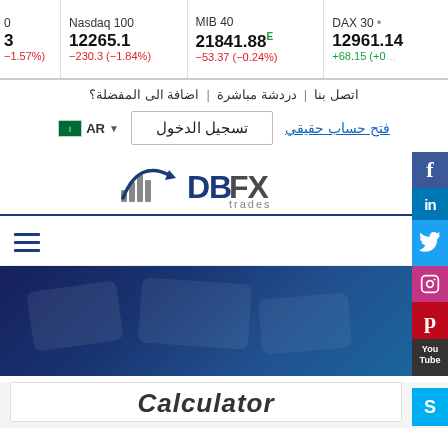[Figure (screenshot): Financial ticker bar showing Nasdaq 100 at 12265.1 (-230.3, -1.84%), MIB 40 at 21841.88E (-53.37, -0.24%), DAX 30 at 12961.14 (+68.15)]
اضافة الى المفضلة؟ | دردشة مباشرة | اتصل بنا
AR  تسجيل الدخول  فتح حساب حقيقي
[Figure (logo): DBFX trades logo with arrow icon]
[Figure (screenshot): Blue hero banner image showing trading interface]
[Figure (screenshot): White content card with italic Calculator heading partially visible at bottom]